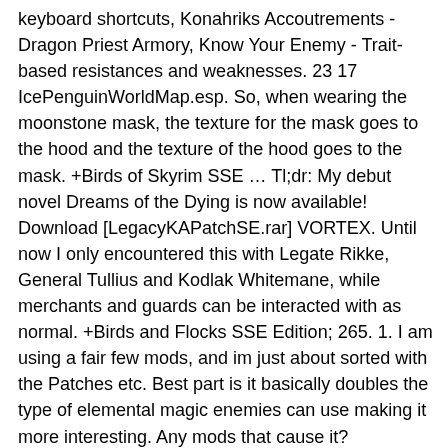keyboard shortcuts, Konahriks Accoutrements - Dragon Priest Armory, Know Your Enemy - Trait-based resistances and weaknesses. 23 17 IcePenguinWorldMap.esp. So, when wearing the moonstone mask, the texture for the mask goes to the hood and the texture of the hood goes to the mask. +Birds of Skyrim SSE … Tl;dr: My debut novel Dreams of the Dying is now available! Download [LegacyKAPatchSE.rar] VORTEX. Until now I only encountered this with Legate Rikke, General Tullius and Kodlak Whitemane, while merchants and guards can be interacted with as normal. +Birds and Flocks SSE Edition; 265. 1. I am using a fair few mods, and im just about sorted with the Patches etc. Best part is it basically doubles the type of elemental magic enemies can use making it more interesting. Any mods that cause it? +Apophysis Dragon Priest Masks Extras SE; 261. Oktober 2013 , im Forum: [Skyrim] Modveröffentlichungen And Moonlight Tales is the closest thing to a Werewolf equivalent to Sacrosanct. +AIM